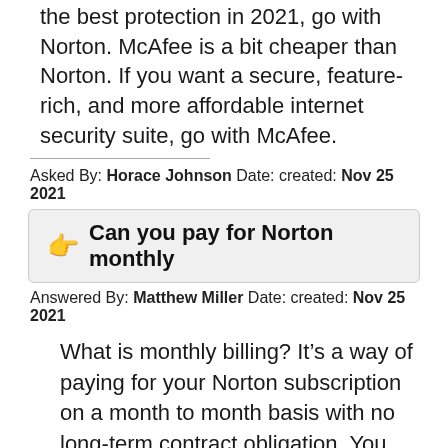the best protection in 2021, go with Norton. McAfee is a bit cheaper than Norton. If you want a secure, feature-rich, and more affordable internet security suite, go with McAfee.
Asked By: Horace Johnson Date: created: Nov 25 2021
Can you pay for Norton monthly
Answered By: Matthew Miller Date: created: Nov 25 2021
What is monthly billing? It’s a way of paying for your Norton subscription on a month to month basis with no long-term contract obligation. You have the flexibility to cancel your subscription at any time with services ending up through the end of the last month paid.